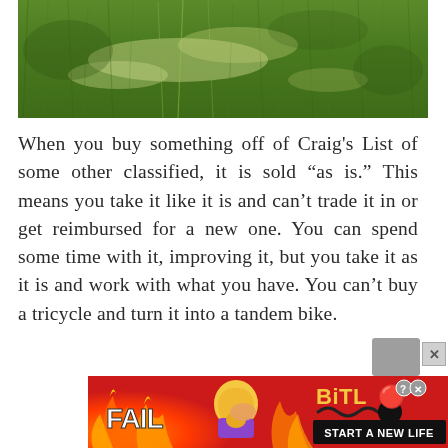[Figure (photo): Close-up photograph of green grass lawn with some lighter/dry patches visible]
When you buy something off of Craig's List of some other classified, it is sold “as is.” This means you take it like it is and can't trade it in or get reimbursed for a new one. You can spend some time with it, improving it, but you take it as it is and work with what you have. You can’t buy a tricycle and turn it into a tandem bike.
[Figure (screenshot): BitLife advertisement banner with FAIL text, animated character, flames, and 'START A NEW LIFE' text on red background]